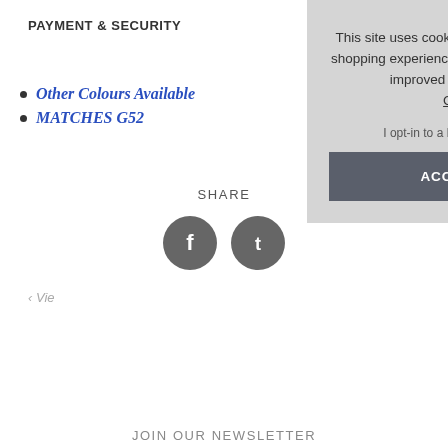PAYMENT & SECURITY
Other Colours Available
MATCHES G52
SHARE
[Figure (illustration): Facebook and Twitter/social media circular grey icon buttons]
‹ Vie...
This site uses cookies to provide and improve your shopping experience. If you want to benefit from this improved service, please opt-in.. Cookies Page. I opt-in to a better browsing experience ACCEPT COOKIES
JOIN OUR NEWSLETTER